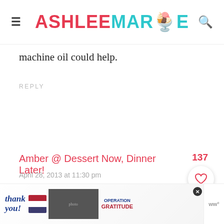ASHLEE MARIE
machine oil could help.
REPLY
Amber @ Dessert Now, Dinner Later!
April 28, 2013 at 11:30 pm
Ashlee, this is such a cute post. I really
[Figure (screenshot): Advertisement banner showing 'Thank you!' with American flag and military imagery, Operation Gratitude logo]